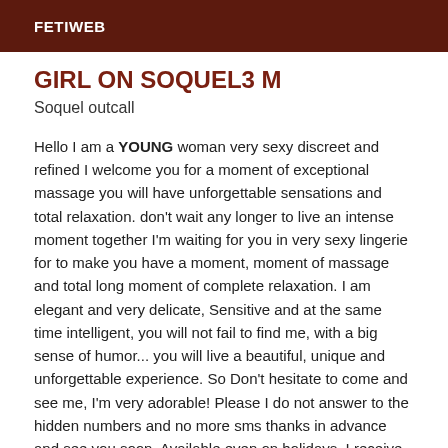FETIWEB
GIRL ON SOQUEL3 M
Soquel outcall
Hello I am a YOUNG woman very sexy discreet and refined I welcome you for a moment of exceptional massage you will have unforgettable sensations and total relaxation. don't wait any longer to live an intense moment together I'm waiting for you in very sexy lingerie for to make you have a moment, moment of massage and total long moment of complete relaxation. I am elegant and very delicate, Sensitive and at the same time intelligent, you will not fail to find me, with a big sense of humor... you will live a beautiful, unique and unforgettable experience. So Don't hesitate to come and see me, I'm very adorable! Please I do not answer to the hidden numbers and no more sms thanks in advance and see you soon. Available even on holidays. I receive DOES NOT ANSWER TO THE EMAIL NEITHER